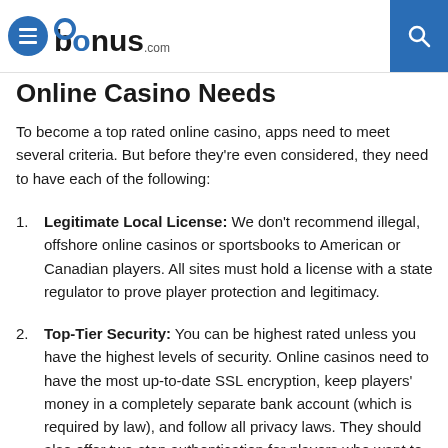bonus.com
Online Casino Needs
To become a top rated online casino, apps need to meet several criteria. But before they're even considered, they need to have each of the following:
Legitimate Local License: We don't recommend illegal, offshore online casinos or sportsbooks to American or Canadian players. All sites must hold a license with a state regulator to prove player protection and legitimacy.
Top-Tier Security: You can be highest rated unless you have the highest levels of security. Online casinos need to have the most up-to-date SSL encryption, keep players' money in a completely separate bank account (which is required by law), and follow all privacy laws. They should also offer two-step authentication for players who want to add an extra layer of security.